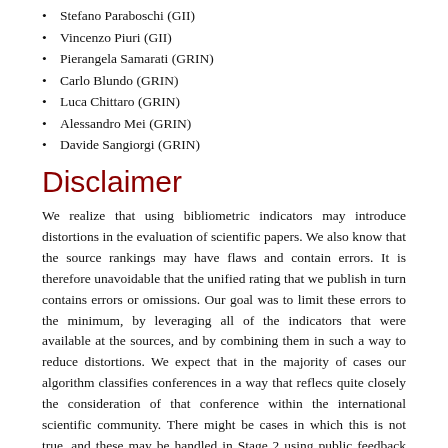Stefano Paraboschi (GII)
Vincenzo Piuri (GII)
Pierangela Samarati (GRIN)
Carlo Blundo (GRIN)
Luca Chittaro (GRIN)
Alessandro Mei (GRIN)
Davide Sangiorgi (GRIN)
Disclaimer
We realize that using bibliometric indicators may introduce distortions in the evaluation of scientific papers. We also know that the source rankings may have flaws and contain errors. It is therefore unavoidable that the unified rating that we publish in turn contains errors or omissions. Our goal was to limit these errors to the minimum, by leveraging all of the indicators that were available at the sources, and by combining them in such a way to reduce distortions. We expect that in the majority of cases our algorithm classifies conferences in a way that reflecs quite closely the consideration of that conference within the international scientific community. There might be cases in which this is not true, and these may be handled in Stage 2 using public feedback from the community.
Changelog
March, 1st 2015 - added references to a collection of